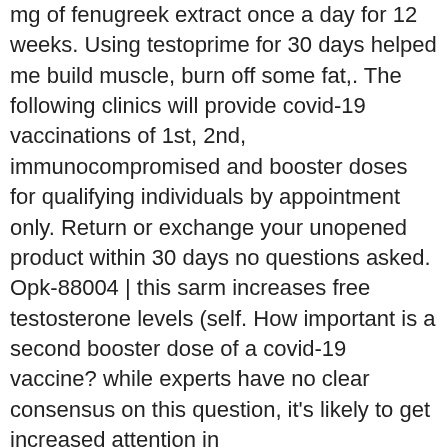mg of fenugreek extract once a day for 12 weeks. Using testoprime for 30 days helped me build muscle, burn off some fat,. The following clinics will provide covid-19 vaccinations of 1st, 2nd, immunocompromised and booster doses for qualifying individuals by appointment only. Return or exchange your unopened product within 30 days no questions asked. Opk-88004 | this sarm increases free testosterone levels (self. How important is a second booster dose of a covid-19 vaccine? while experts have no clear consensus on this question, it's likely to get increased attention in
The use of clenbuterol is not approved for human use in the United States because it may cause permanent damage to essential organs, and some nations consider its usage to be illegal. According to some studies, more than 80% of people who abused clepbuterol and experienced significant